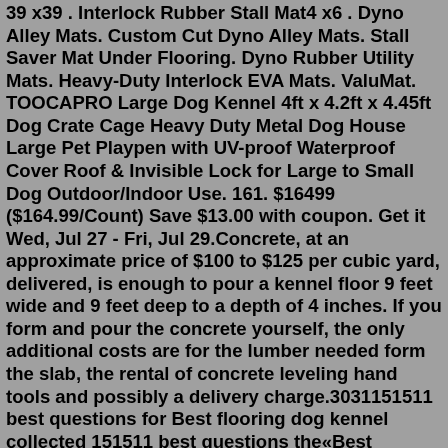39 x39 . Interlock Rubber Stall Mat4 x6 . Dyno Alley Mats. Custom Cut Dyno Alley Mats. Stall Saver Mat Under Flooring. Dyno Rubber Utility Mats. Heavy-Duty Interlock EVA Mats. ValuMat. TOOCAPRO Large Dog Kennel 4ft x 4.2ft x 4.45ft Dog Crate Cage Heavy Duty Metal Dog House Large Pet Playpen with UV-proof Waterproof Cover Roof & Invisible Lock for Large to Small Dog Outdoor/Indoor Use. 161. $16499 ($164.99/Count) Save $13.00 with coupon. Get it Wed, Jul 27 - Fri, Jul 29.Concrete, at an approximate price of $100 to $125 per cubic yard, delivered, is enough to pour a kennel floor 9 feet wide and 9 feet deep to a depth of 4 inches. If you form and pour the concrete yourself, the only additional costs are for the lumber needed form the slab, the rental of concrete leveling hand tools and possibly a delivery charge.3031151511 best questions for Best flooring dog kennel collected 151511 best questions the«Best flooring dog kennel» category soyou can quickly find the answer your question popular questionsWhat the best dog kennel flooring Florock... ContentsTop 5